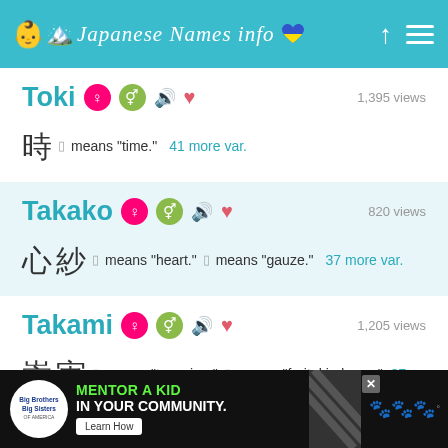Japanese Names info
Toki — 1,395 views — 時 means "time." — 41 more var.
Takako — 820 views — 心 紗 means "heart." means "gauze." — 37 more var.
Takami — 1,205 views — 嵩 実 means "towering." means "fruit, kindness." — 37 more var.
[Figure (screenshot): Advertisement banner: Big Brothers Big Sisters — Mentor a Kid in Your Community. Learn How.]